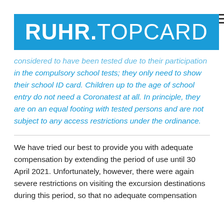[Figure (logo): RUHR.TOPCARD logo — blue rectangle with white bold text 'RUHR.' followed by lighter weight 'TOPCARD']
considered to have been tested due to their participation in the compulsory school tests; they only need to show their school ID card. Children up to the age of school entry do not need a Coronatest at all. In principle, they are on an equal footing with tested persons and are not subject to any access restrictions under the ordinance.
We have tried our best to provide you with adequate compensation by extending the period of use until 30 April 2021. Unfortunately, however, there were again severe restrictions on visiting the excursion destinations during this period, so that no adequate compensation